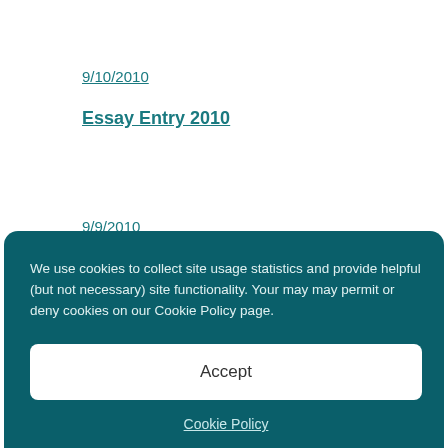9/10/2010
Essay Entry 2010
9/9/2010
We use cookies to collect site usage statistics and provide helpful (but not necessary) site functionality. Your may may permit or deny cookies on our Cookie Policy page.
Accept
Cookie Policy